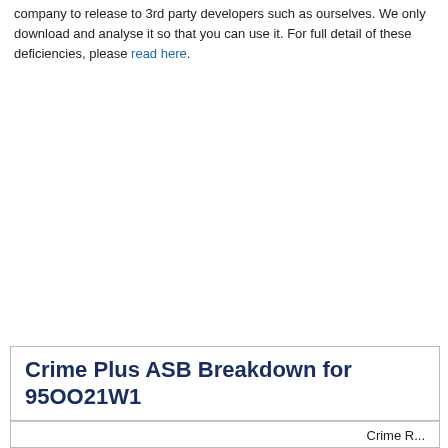company to release to 3rd party developers such as ourselves. We only download and analyse it so that you can use it. For full detail of these deficiencies, please read here.
Crime Plus ASB Breakdown for 95OO21W1
| Crime R... |
| --- |